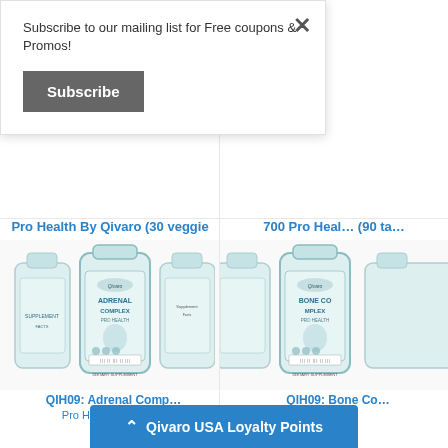Subscribe to our mailing list for Free coupons & Promos!
Subscribe
×
Pro Health By Qivaro (30 veggie caps)
$39.95
700 Pro Health (90 ta…
$39…
[Figure (photo): Three Adrenal Complex Pro Health supplement bottles by Qivaro, showing front and back views]
[Figure (photo): Bone Complex Pro Health supplement bottles by Qivaro, partially cropped]
QIH09: Adrenal Complex Pro Health by Qiva…
QIH09: Bone Co…
^ Qivaro USA Loyalty Points